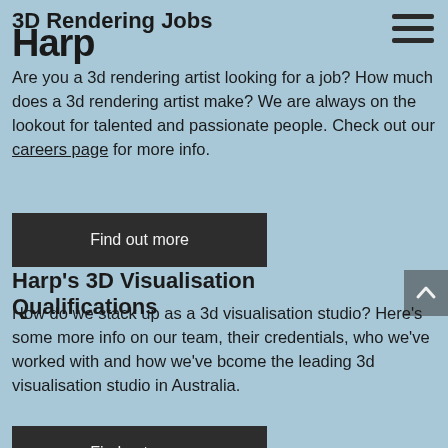3D Rendering Jobs / Harp
3D Rendering Jobs
Are you a 3d rendering artist looking for a job? How much does a 3d rendering artist make? We are always on the lookout for talented and passionate people. Check out our careers page for more info.
Find out more
Harp's 3D Visualisation Qualifications
How do we stack up as a 3d visualisation studio? Here's some more info on our team, their credentials, who we've worked with and how we've bcome the leading 3d visualisation studio in Australia.
Find out more